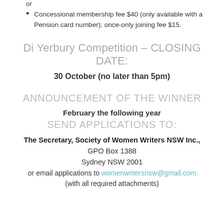or
Concessional membership fee $40 (only available with a Pension card number); once-only joining fee $15.
Di Yerbury Competition – CLOSING DATE:
30 October (no later than 5pm)
ANNOUNCEMENT OF THE WINNER
February the following year
SEND APPLICATIONS TO:
The Secretary, Society of Women Writers NSW Inc.,
GPO Box 1388
Sydney NSW 2001
or email applications to womenwritersnsw@gmail.com
(with all required attachments)